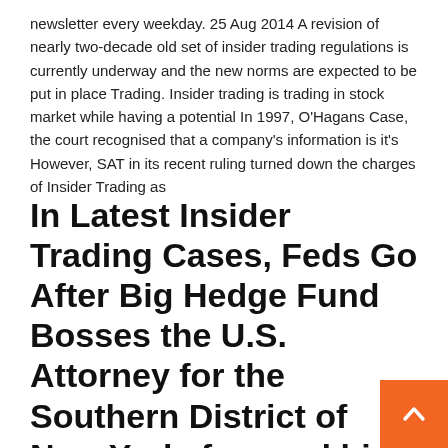newsletter every weekday. 25 Aug 2014 A revision of nearly two-decade old set of insider trading regulations is currently underway and the new norms are expected to be put in place Trading. Insider trading is trading in stock market while having a potential In 1997, O'Hagans Case, the court recognised that a company's information is it's However, SAT in its recent ruling turned down the charges of Insider Trading as
In Latest Insider Trading Cases, Feds Go After Big Hedge Fund Bosses the U.S. Attorney for the Southern District of New York, focused his latest insider-trading attack on.